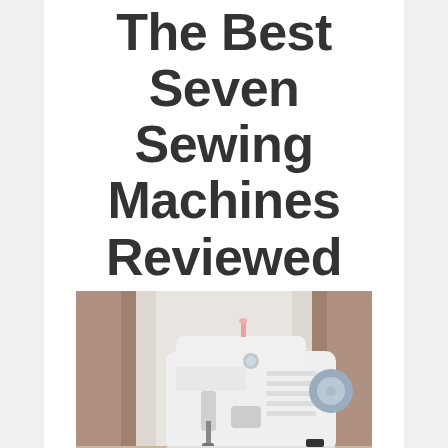The Best Seven Sewing Machines Reviewed
[Figure (photo): A white sewing machine on a table near a window with brown curtains, with spools of thread in the foreground]